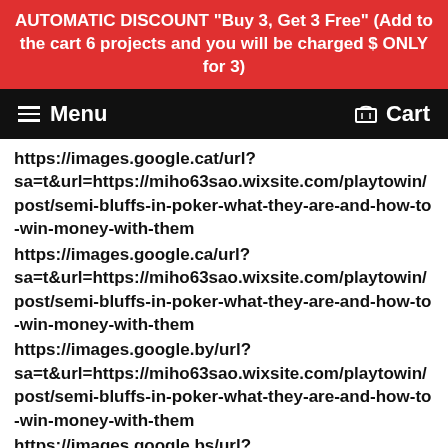AUTOMATIC DISCOUNT "Buy 3, Get 3 Free" (Add to the cart 6 projects and you will be charged $ ONLY for 3)
Menu   Cart
https://images.google.cat/url?sa=t&url=https://miho63sao.wixsite.com/playtowin/post/semi-bluffs-in-poker-what-they-are-and-how-to-win-money-with-them
https://images.google.ca/url?sa=t&url=https://miho63sao.wixsite.com/playtowin/post/semi-bluffs-in-poker-what-they-are-and-how-to-win-money-with-them
https://images.google.by/url?sa=t&url=https://miho63sao.wixsite.com/playtowin/post/semi-bluffs-in-poker-what-they-are-and-how-to-win-money-with-them
https://images.google.bs/url?sa=t&url=https://miho63sao.wixsite.com/playtowin/post/semi-bluffs-in-poker-what-they-are-and-how-to-win-money-with-them
https://images.google.bi/url?